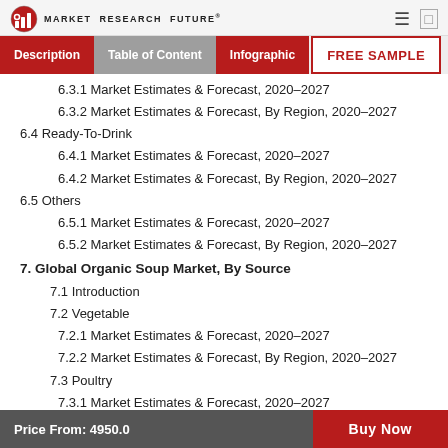MARKET RESEARCH FUTURE
Description
Table of Content
Infographic
FREE SAMPLE
6.3.1 Market Estimates & Forecast, 2020–2027
6.3.2 Market Estimates & Forecast, By Region, 2020–2027
6.4 Ready-To-Drink
6.4.1 Market Estimates & Forecast, 2020–2027
6.4.2 Market Estimates & Forecast, By Region, 2020–2027
6.5 Others
6.5.1 Market Estimates & Forecast, 2020–2027
6.5.2 Market Estimates & Forecast, By Region, 2020–2027
7. Global Organic Soup Market, By Source
7.1 Introduction
7.2 Vegetable
7.2.1 Market Estimates & Forecast, 2020–2027
7.2.2 Market Estimates & Forecast, By Region, 2020–2027
7.3 Poultry
7.3.1 Market Estimates & Forecast, 2020–2027
7.3.2 Market Estimates & Forecast, By Region, 2020–2027
Price From: 4950.0    Buy Now